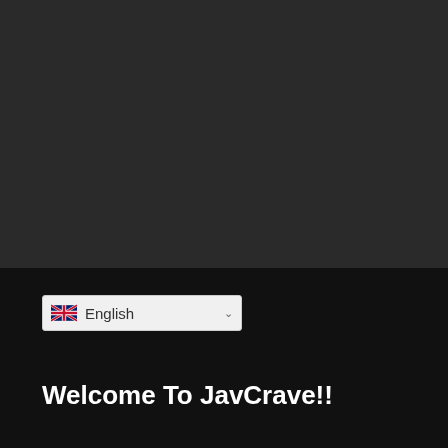[Figure (screenshot): Dark gray rectangular area taking up the top portion of the page, representing a video or media player area with a very dark background.]
[Figure (screenshot): Language selector dropdown showing UK flag emoji and 'English' text with a dropdown arrow chevron, on a light gray background with border.]
Welcome To JavCrave!!